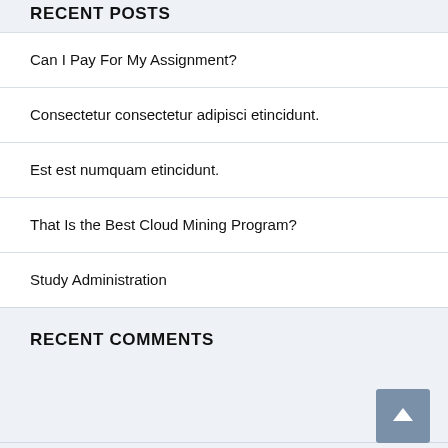RECENT POSTS
Can I Pay For My Assignment?
Consectetur consectetur adipisci etincidunt.
Est est numquam etincidunt.
That Is the Best Cloud Mining Program?
Study Administration
RECENT COMMENTS
ARCHIVES